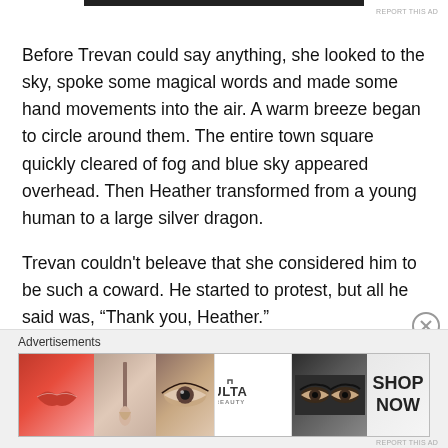Before Trevan could say anything, she looked to the sky, spoke some magical words and made some hand movements into the air. A warm breeze began to circle around them. The entire town square quickly cleared of fog and blue sky appeared overhead. Then Heather transformed from a young human to a large silver dragon.
Trevan couldn't beleave that she considered him to be such a coward. He started to protest, but all he said was, “Thank you, Heather.”
“My name is Starling.”
[Figure (other): Advertisement banner for ULTA Beauty showing makeup imagery including lips, brush, eye closeup, ULTA logo, eyes with makeup, and SHOP NOW text]